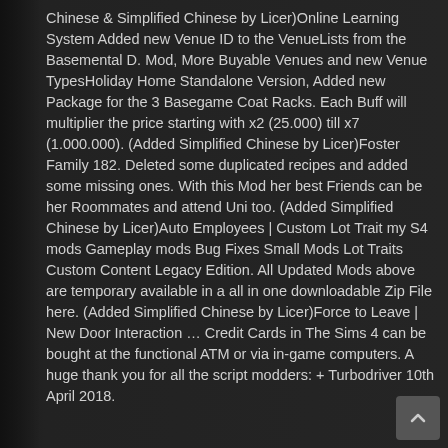Chinese & Simplified Chinese by Licer)Online Learning System Added new Venue ID to the VenueLists from the Basemental D. Mod, More Buyable Venues and new Venue TypesHoliday Home Standalone Version, Added new Package for the 3 Basegame Coat Racks. Each Buff will multiplier the price starting with x2 (25.000) till x7 (1.000.000). (Added Simplified Chinese by Licer)Foster Family 182. Deleted some duplicated recipes and added some missing ones. With this Mod her best Friends can be her Roommates and attend Uni too. (Added Simplified Chinese by Licer)Auto Employees | Custom Lot Trait my S4 mods Gameplay mods Bug Fixes Small Mods Lot Traits Custom Content Legacy Edition. All Updated Mods above are temporary available in a all in one downloadable Zip File here. (Added Simplified Chinese by Licer)Force to Leave | New Door Interaction … Credit Cards in The Sims 4 can be bought at the functional ATM or via in-game computers. A huge thank you for all the script modders: + Turbodriver 10th April 2018.